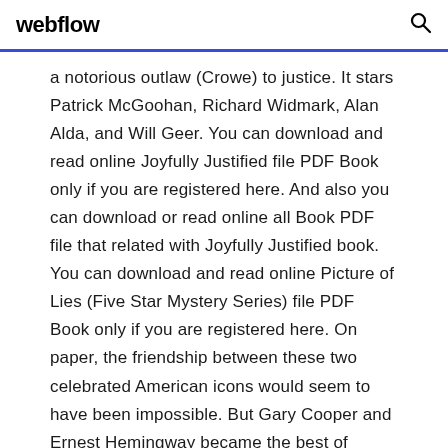webflow
a notorious outlaw (Crowe) to justice. It stars Patrick McGoohan, Richard Widmark, Alan Alda, and Will Geer. You can download and read online Joyfully Justified file PDF Book only if you are registered here. And also you can download or read online all Book PDF file that related with Joyfully Justified book. You can download and read online Picture of Lies (Five Star Mystery Series) file PDF Book only if you are registered here. On paper, the friendship between these two celebrated American icons would seem to have been impossible. But Gary Cooper and Ernest Hemingway became the best of friends, right up until their deaths several weeks apart in 1961. Reviewing the book, the New York...